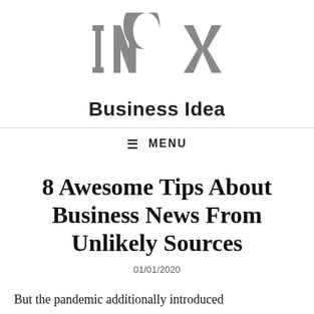[Figure (logo): INOX logo in gray block letters with 'Business Idea' text below]
≡ MENU
8 Awesome Tips About Business News From Unlikely Sources
01/01/2020
But the pandemic additionally introduced